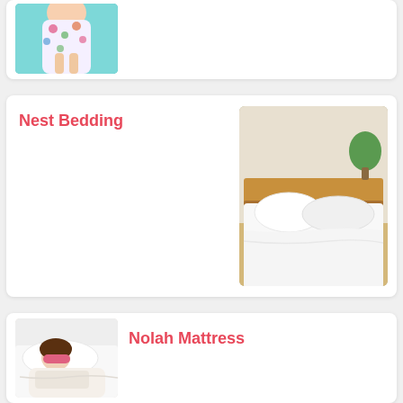[Figure (photo): Person in floral robe standing against teal/turquoise background, partial crop showing legs and robe]
[Figure (photo): White bedding and pillows on a wooden bed frame with a plant in the background]
Nest Bedding
[Figure (photo): Woman wearing pink sleep mask lying in white bedding]
Nolah Mattress